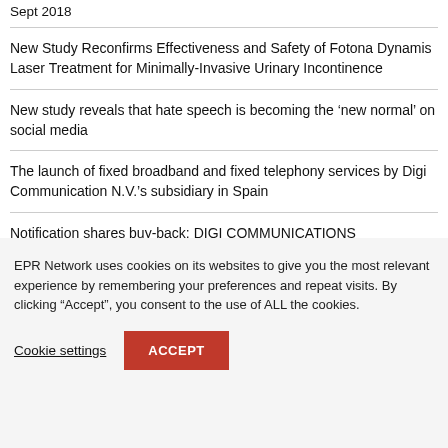Sept 2018
New Study Reconfirms Effectiveness and Safety of Fotona Dynamis Laser Treatment for Minimally-Invasive Urinary Incontinence
New study reveals that hate speech is becoming the ‘new normal’ on social media
The launch of fixed broadband and fixed telephony services by Digi Communication N.V.’s subsidiary in Spain
Notification shares buy-back: DIGI COMMUNICATIONS
EPR Network uses cookies on its websites to give you the most relevant experience by remembering your preferences and repeat visits. By clicking “Accept”, you consent to the use of ALL the cookies.
Cookie settings
ACCEPT